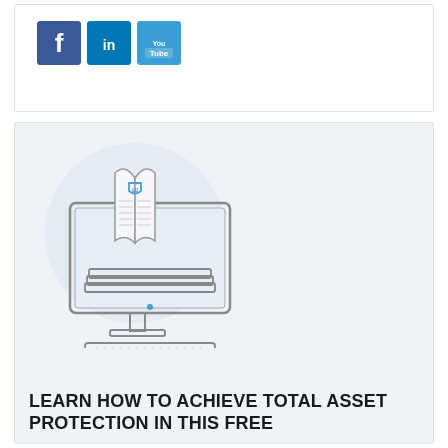[Figure (logo): Social media icons: Facebook (blue square with f), LinkedIn (blue square with in), YouTube (blue square with YouTube logo)]
[Figure (illustration): An illustration of a computer monitor displaying an open book with a shield/crest logo, stacked books at the base, with a keyboard below. Background has a light blue-grey circular gradient. Represents online learning/asset protection resources.]
LEARN HOW TO ACHIEVE TOTAL ASSET PROTECTION IN THIS FREE